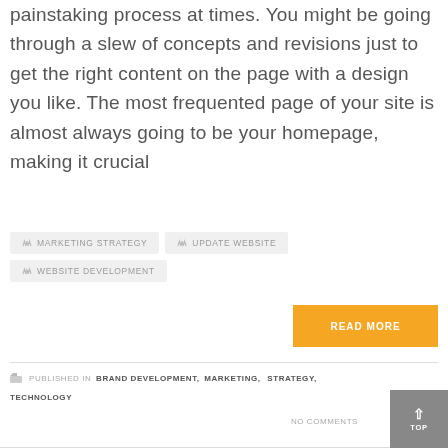painstaking process at times. You might be going through a slew of concepts and revisions just to get the right content on the page with a design you like. The most frequented page of your site is almost always going to be your homepage, making it crucial
MARKETING STRATEGY
UPDATE WEBSITE
WEBSITE DEVELOPMENT
READ MORE
PUBLISHED IN BRAND DEVELOPMENT, MARKETING, STRATEGY, TECHNOLOGY
NO COMMENTS